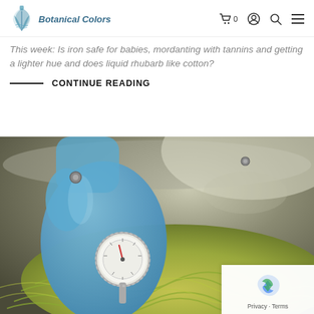Botanical Colors
This week: Is iron safe for babies, mordanting with tannins and getting a lighter hue and does liquid rhubarb like cotton?
CONTINUE READING
[Figure (photo): A gloved hand wearing a blue latex glove holding a round thermometer dial over a large stainless steel pot filled with yellow-green yarn being dyed.]